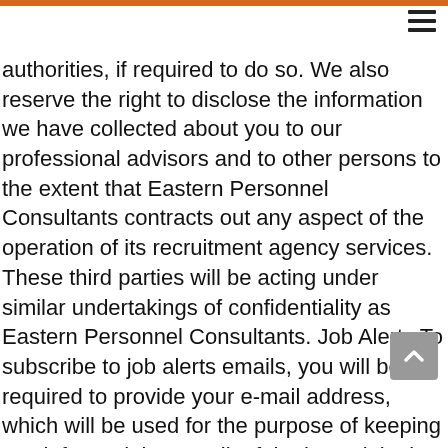authorities, if required to do so. We also reserve the right to disclose the information we have collected about you to our professional advisors and to other persons to the extent that Eastern Personnel Consultants contracts out any aspect of the operation of its recruitment agency services. These third parties will be acting under similar undertakings of confidentiality as Eastern Personnel Consultants. Job Alerts To subscribe to job alerts emails, you will be required to provide your e-mail address, which will be used for the purpose of keeping you informed, by e-mail, of the latest jobs in your nominated industry and/or industry news via job alerts. Should you decide that you no longer wish to receive this information, unsubscribe links are provided in every job alert email that you receive. WhatsApp Groups - Group rules: Only Eastern Personnel Consultants can post to their WhatsApp groups. All